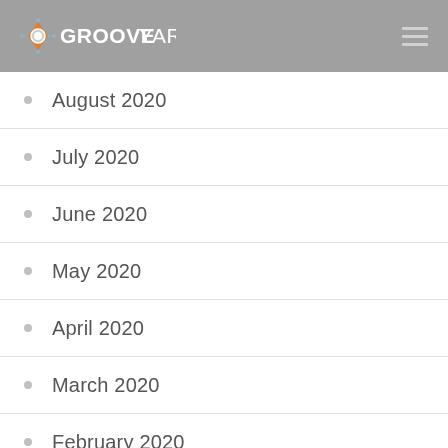GROOVEYARD
August 2020
July 2020
June 2020
May 2020
April 2020
March 2020
February 2020
January 2020